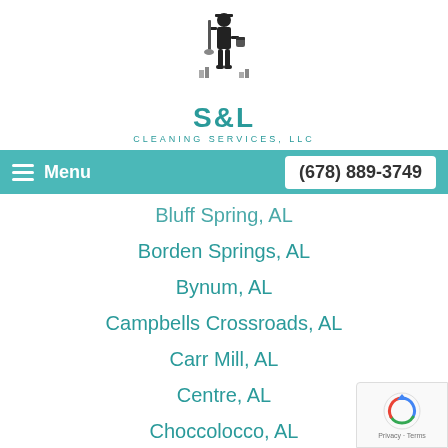[Figure (logo): S&L Cleaning Services LLC logo with janitor figure holding mop and bucket]
S&L Cleaning Services, LLC
Menu  (678) 889-3749
Bluff Spring, AL
Borden Springs, AL
Bynum, AL
Campbells Crossroads, AL
Carr Mill, AL
Centre, AL
Choccolocco, AL
Christiana, AL
Chulafinnee, AL